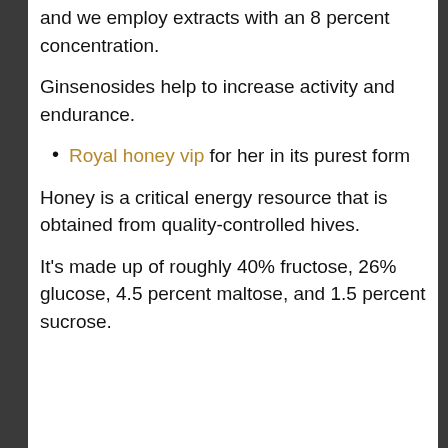and we employ extracts with an 8 percent concentration.
Ginsenosides help to increase activity and endurance.
Royal honey vip for her in its purest form
Honey is a critical energy resource that is obtained from quality-controlled hives.
It's made up of roughly 40% fructose, 26% glucose, 4.5 percent maltose, and 1.5 percent sucrose.